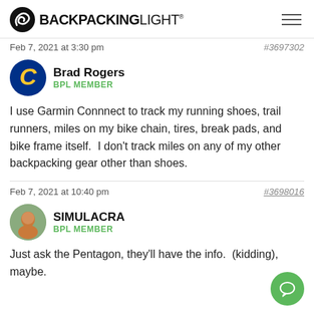BACKPACKINGLIGHT
Feb 7, 2021 at 3:30 pm   #3697302
Brad Rogers
BPL MEMBER
I use Garmin Connnect to track my running shoes, trail runners, miles on my bike chain, tires, break pads, and bike frame itself.  I don't track miles on any of my other backpacking gear other than shoes.
Feb 7, 2021 at 10:40 pm   #3698016
SIMULACRA
BPL MEMBER
Just ask the Pentagon, they'll have the info.  (kidding), maybe.